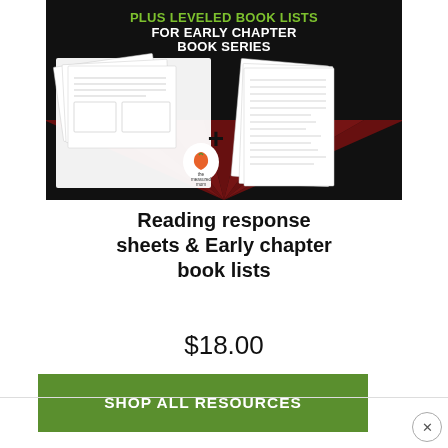[Figure (illustration): Product banner image on dark/black background with red sunburst. Top text reads 'PLUS LEVELED BOOK LISTS FOR EARLY CHAPTER BOOK SERIES' in green and white. Below shows worksheet pages on left side, a plus sign in the middle, and book list pages on the right side. 'the measured mom' logo visible.]
Reading response sheets & Early chapter book lists
$18.00
SHOP ALL RESOURCES